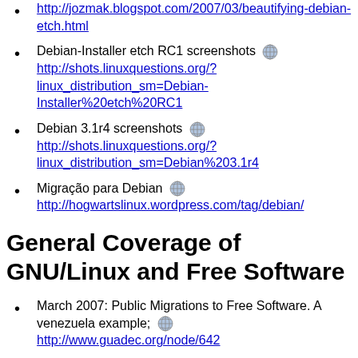http://jozmak.blogspot.com/2007/03/beautifying-debian-etch.html
Debian-Installer etch RC1 screenshots http://shots.linuxquestions.org/?linux_distribution_sm=Debian-Installer%20etch%20RC1
Debian 3.1r4 screenshots http://shots.linuxquestions.org/?linux_distribution_sm=Debian%203.1r4
Migração para Debian http://hogwartslinux.wordpress.com/tag/debian/
General Coverage of GNU/Linux and Free Software
March 2007: Public Migrations to Free Software. A venezuela example; http://www.guadec.org/node/642